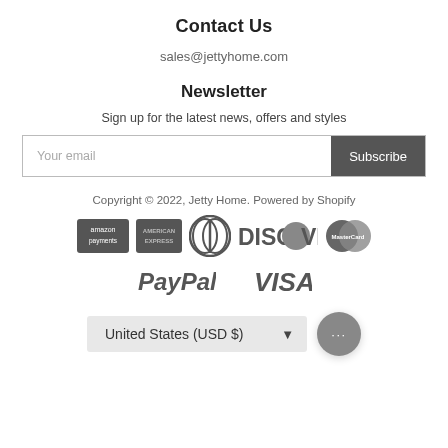Contact Us
sales@jettyhome.com
Newsletter
Sign up for the latest news, offers and styles
Your email | Subscribe
Copyright © 2022, Jetty Home. Powered by Shopify
[Figure (logo): Payment method logos: Amazon Payments, American Express, Diners Club, Discover, MasterCard, PayPal, VISA]
United States (USD $)